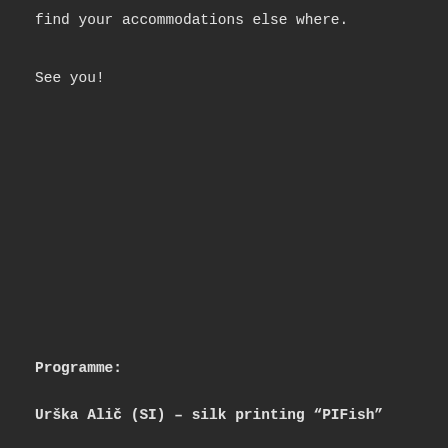find your accommodations else where.
See you!
Programme:
Urška Alič (SI) – silk printing “PIFish”